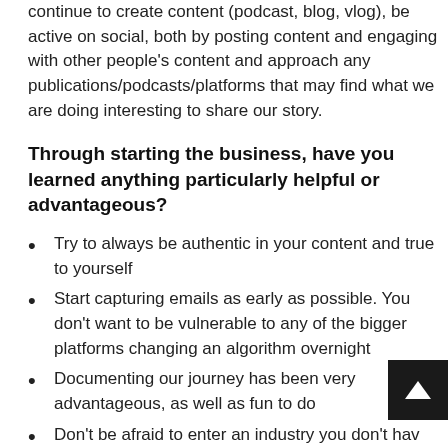continue to create content (podcast, blog, vlog), be active on social, both by posting content and engaging with other people's content and approach any publications/podcasts/platforms that may find what we are doing interesting to share our story.
Through starting the business, have you learned anything particularly helpful or advantageous?
Try to always be authentic in your content and true to yourself
Start capturing emails as early as possible. You don't want to be vulnerable to any of the bigger platforms changing an algorithm overnight
Documenting our journey has been very advantageous, as well as fun to do
Don't be afraid to enter an industry you don't have experience in. Both of us had no previous experience in apparel production, but we found a partner that has been great in taking care of the manufacturing, while